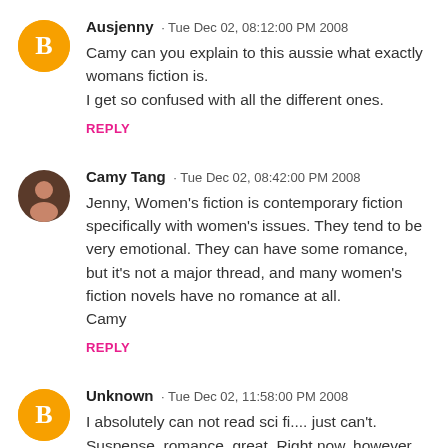Ausjenny · Tue Dec 02, 08:12:00 PM 2008
Camy can you explain to this aussie what exactly womans fiction is.
I get so confused with all the different ones.
REPLY
Camy Tang · Tue Dec 02, 08:42:00 PM 2008
Jenny, Women's fiction is contemporary fiction specifically with women's issues. They tend to be very emotional. They can have some romance, but it's not a major thread, and many women's fiction novels have no romance at all.
Camy
REPLY
Unknown · Tue Dec 02, 11:58:00 PM 2008
I absolutely can not read sci fi.... just can't.
Suspense, romance, great. Right now, however,